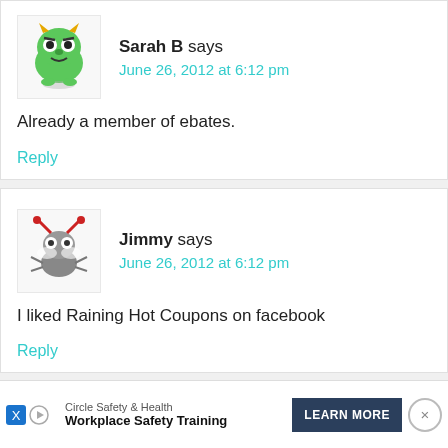Sarah B says
June 26, 2012 at 6:12 pm
Already a member of ebates.
Reply
Jimmy says
June 26, 2012 at 6:12 pm
I liked Raining Hot Coupons on facebook
Reply
Circle Safety & Health
Workplace Safety Training
LEARN MORE